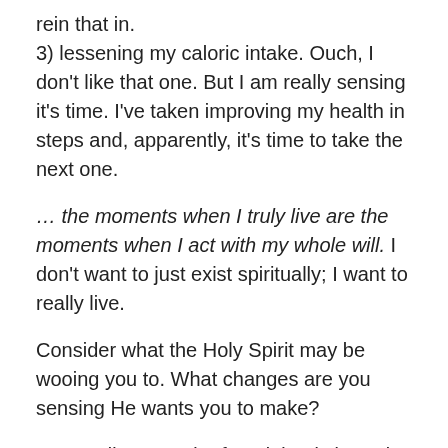rein that in.
3) lessening my caloric intake. Ouch, I don't like that one. But I am really sensing it's time. I've taken improving my health in steps and, apparently, it's time to take the next one.
… the moments when I truly live are the moments when I act with my whole will. I don't want to just exist spiritually; I want to really live.
Consider what the Holy Spirit may be wooing you to. What changes are you sensing He wants you to make?
Never allow a truth of God that is brought home to your soul to pass without acting on it, not necessarily physically, but in will. Record it, with ink or with blood. The feeblest saint who transacts business with Jesus Christ is